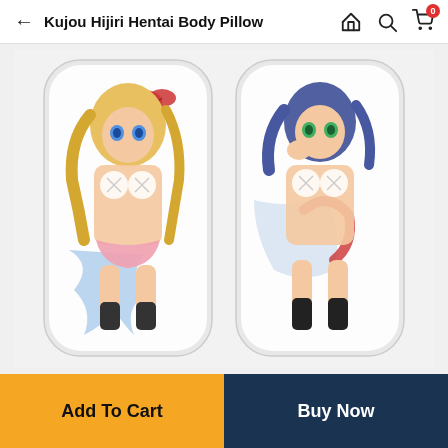Kujou Hijiri Hentai Body Pillow
[Figure (photo): Product listing screenshot showing two anime-style body pillow covers side by side on a light background. Left pillow features a blonde anime character with blue eyes and red hair accessory. Right pillow features a blue-haired anime character with green eyes. Both images have censored areas.]
Add To Cart
Buy Now